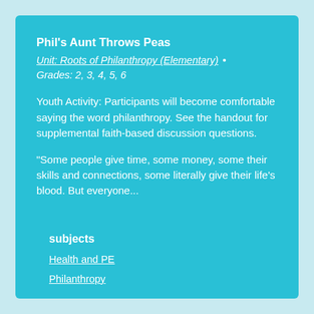Phil's Aunt Throws Peas
Unit: Roots of Philanthropy (Elementary) • Grades: 2, 3, 4, 5, 6
Youth Activity: Participants will become comfortable saying the word philanthropy. See the handout for supplemental faith-based discussion questions.
"Some people give time, some money, some their skills and connections, some literally give their life's blood. But everyone...
subjects
Health and PE
Philanthropy